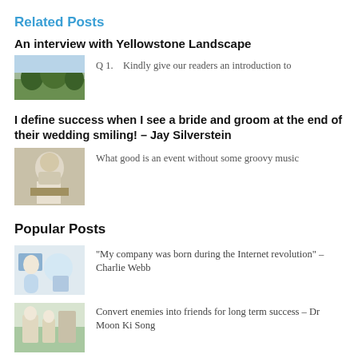Related Posts
An interview with Yellowstone Landscape
[Figure (photo): Thumbnail of a landscape with trees and green lawn]
Q 1.   Kindly give our readers an introduction to
I define success when I see a bride and groom at the end of their wedding smiling! – Jay Silverstein
[Figure (photo): Thumbnail of a person leaning over, possibly at a wedding or musical event]
What good is an event without some groovy music
Popular Posts
[Figure (photo): Thumbnail of a person working with technology/science equipment]
“My company was born during the Internet revolution” – Charlie Webb
[Figure (photo): Thumbnail related to business/pharmacy content]
Convert enemies into friends for long term success – Dr Moon Ki Song
[Figure (photo): Thumbnail of group of people, possibly business team]
I do not find Facebook that useful – Per Koch (Owner – Pandia.com)